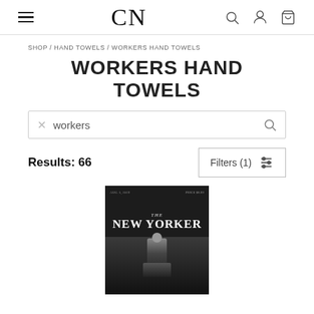CN — navigation bar with hamburger menu, logo CN, search icon, user icon, cart icon
SHOP / HAND TOWELS / WORKERS HAND TOWELS
WORKERS HAND TOWELS
workers (search box)
Results: 66
Filters (1)
[Figure (photo): The New Yorker magazine cover print on a dark hand towel showing a ghostly figure in a dark scene with the New Yorker masthead]